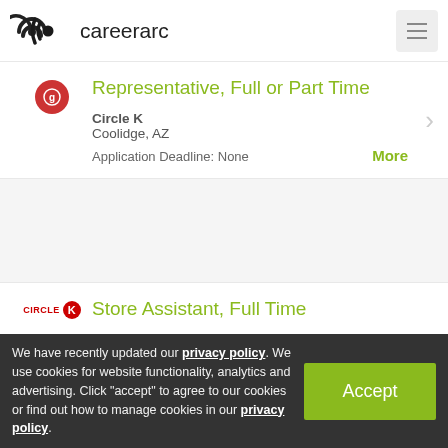careerarc
Representative, Full or Part Time
Circle K
Coolidge, AZ
Application Deadline: None
Store Assistant, Full Time
Circle K
Coolidge, AZ
Application Deadline: None
◄ PREV    NEXT ►
We have recently updated our privacy policy. We use cookies for website functionality, analytics and advertising. Click "accept" to agree to our cookies or find out how to manage cookies in our privacy policy.